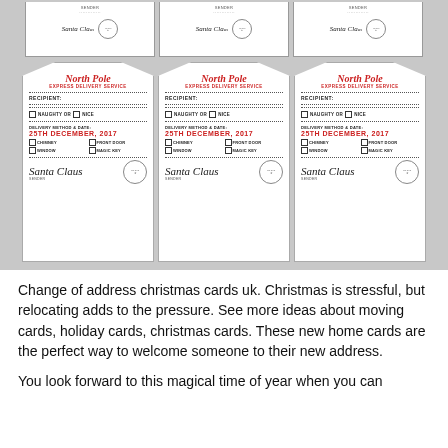[Figure (illustration): Six North Pole Express Delivery Service gift tags arranged in two rows (partial top row and full bottom row). Each tag shows 'North Pole EXPRESS DELIVERY SERVICE', RECIPIENT field, NAUGHTY OR NICE checkboxes, DELIVERY METHOD & DATE: 25TH DECEMBER, 2017, delivery method checkboxes (CHIMNEY, FRONT DOOR, WINDOW, MAGIC KEY), and Santa Claus signature with stamp.]
Change of address christmas cards uk. Christmas is stressful, but relocating adds to the pressure. See more ideas about moving cards, holiday cards, christmas cards. These new home cards are the perfect way to welcome someone to their new address.
You look forward to this magical time of year when you can